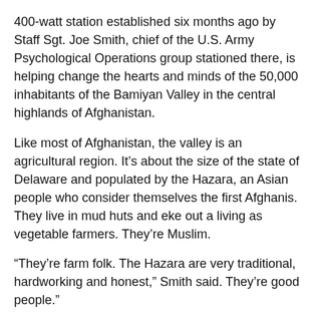400-watt station established six months ago by Staff Sgt. Joe Smith, chief of the U.S. Army Psychological Operations group stationed there, is helping change the hearts and minds of the 50,000 inhabitants of the Bamiyan Valley in the central highlands of Afghanistan.
Like most of Afghanistan, the valley is an agricultural region. It's about the size of the state of Delaware and populated by the Hazara, an Asian people who consider themselves the first Afghanis. They live in mud huts and eke out a living as vegetable farmers. They're Muslim.
“They’re farm folk. The Hazara are very traditional, hardworking and honest,” Smith said. They’re good people.”
Smith, 34, and his wife, Terry, spent the Christmas holidays with his father and mother, Joe Sr. and Joan Smith of Port Charlotte.
“Our mission in Afghanistan is to help maintain stability. Toward that end, we built the radio station to help get the word out to the people of the area,” Sgt. Smith said. “We